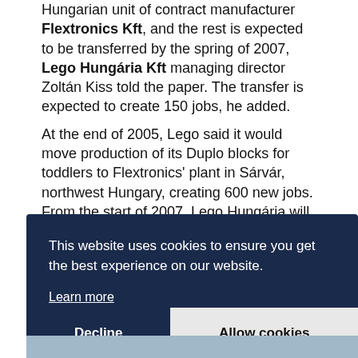Hungarian unit of contract manufacturer Flextronics Kft, and the rest is expected to be transferred by the spring of 2007, Lego Hungária Kft managing director Zoltán Kiss told the paper. The transfer is expected to create 150 jobs, he added.

At the end of 2005, Lego said it would move production of its Duplo blocks for toddlers to Flextronics' plant in Sárvár, northwest Hungary, creating 600 new jobs. From the start of 2007, Lego Hungária will be responsible for Lego's operations in Slovenia, as well as in Hungary and Croatia, Kiss said.

Lego's sales in Hungary grew 12% in 2006, giving it a leading position on the toy market.
[Figure (screenshot): Cookie consent overlay banner with dark navy background, text 'This website uses cookies to ensure you get the best experience on our website.', a 'Learn more' underlined link, and two buttons: 'Decline' (dark) and 'Allow cookies' (light grey). Below the banner is a partial photo strip.]